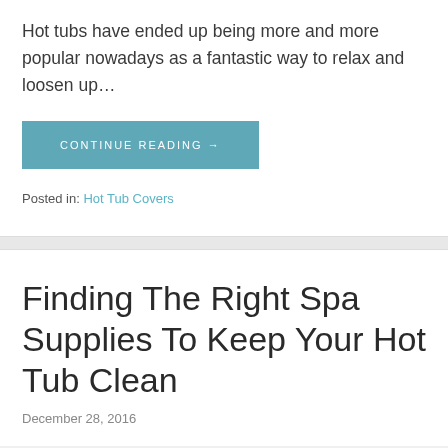Hot tubs have ended up being more and more popular nowadays as a fantastic way to relax and loosen up…
CONTINUE READING →
Posted in: Hot Tub Covers
Finding The Right Spa Supplies To Keep Your Hot Tub Clean
December 28, 2016